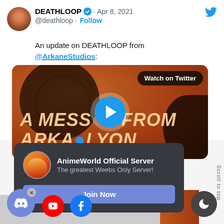[Figure (screenshot): Twitter/X screenshot of DEATHLOOP official account tweet from Apr 8, 2021 with text 'An update on DEATHLOOP from @ArkaneStudios:' and a video thumbnail for 'A MESSAGE FROM ARKANE LYON' with a Watch on Twitter badge and play button]
[Figure (screenshot): Discord popup overlay for AnimeWorld Official Server with tagline 'The greatest Weebs Only Server!' and a Join Now button in purple]
Our s use o
[Figure (screenshot): Cookie consent bar with 'I ACCEPT USE OF COOKIES' text and partial text 'Our s use o']
[Figure (screenshot): Discord FAB button with X close, YouTube red circle button, Facebook blue circle button at bottom left, dark mode moon button at bottom right, and Scroll to top text on right side]